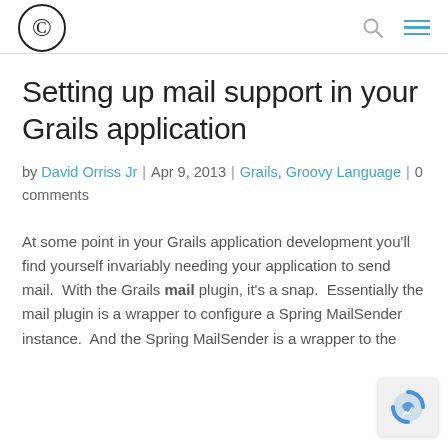© [logo] [search icon] [menu icon]
Setting up mail support in your Grails application
by David Orriss Jr | Apr 9, 2013 | Grails, Groovy Language | 0 comments
At some point in your Grails application development you'll find yourself invariably needing your application to send mail.  With the Grails mail plugin, it's a snap.  Essentially the mail plugin is a wrapper to configure a Spring MailSender instance.  And the Spring MailSender is a wrapper to the